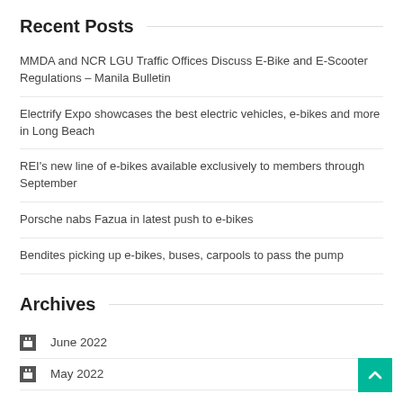Recent Posts
MMDA and NCR LGU Traffic Offices Discuss E-Bike and E-Scooter Regulations – Manila Bulletin
Electrify Expo showcases the best electric vehicles, e-bikes and more in Long Beach
REI's new line of e-bikes available exclusively to members through September
Porsche nabs Fazua in latest push to e-bikes
Bendites picking up e-bikes, buses, carpools to pass the pump
Archives
June 2022
May 2022